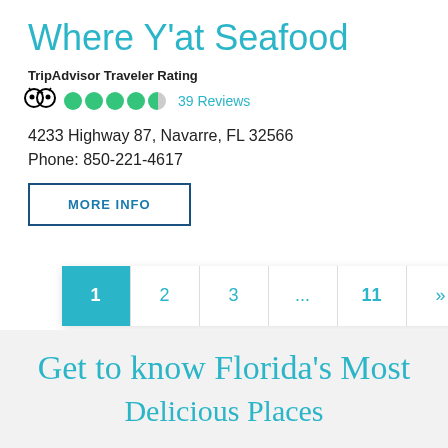Where Y'at Seafood
TripAdvisor Traveler Rating
39 Reviews
4233 Highway 87, Navarre, FL 32566
Phone: 850-221-4617
MORE INFO
[Figure (other): Pagination control showing pages 1 (active/highlighted in teal), 2, 3, ..., 11, and a next arrow]
Get to know Florida's Most